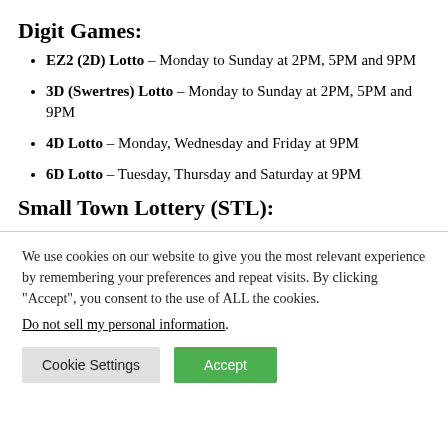Digit Games:
EZ2 (2D) Lotto – Monday to Sunday at 2PM, 5PM and 9PM
3D (Swertres) Lotto – Monday to Sunday at 2PM, 5PM and 9PM
4D Lotto – Monday, Wednesday and Friday at 9PM
6D Lotto – Tuesday, Thursday and Saturday at 9PM
Small Town Lottery (STL):
We use cookies on our website to give you the most relevant experience by remembering your preferences and repeat visits. By clicking “Accept”, you consent to the use of ALL the cookies.
Do not sell my personal information.